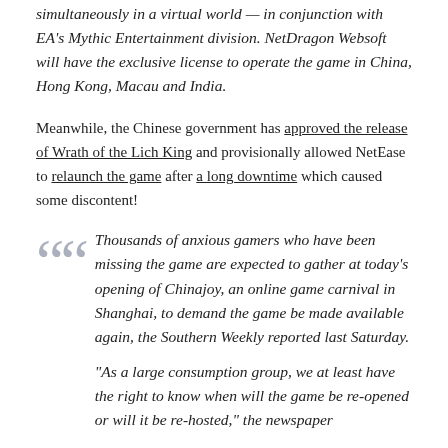simultaneously in a virtual world — in conjunction with EA's Mythic Entertainment division. NetDragon Websoft will have the exclusive license to operate the game in China, Hong Kong, Macau and India.
Meanwhile, the Chinese government has approved the release of Wrath of the Lich King and provisionally allowed NetEase to relaunch the game after a long downtime which caused some discontent!
Thousands of anxious gamers who have been missing the game are expected to gather at today's opening of Chinajoy, an online game carnival in Shanghai, to demand the game be made available again, the Southern Weekly reported last Saturday.
"As a large consumption group, we at least have the right to know when will the game be re-opened or will it be re-hosted," the newspaper...